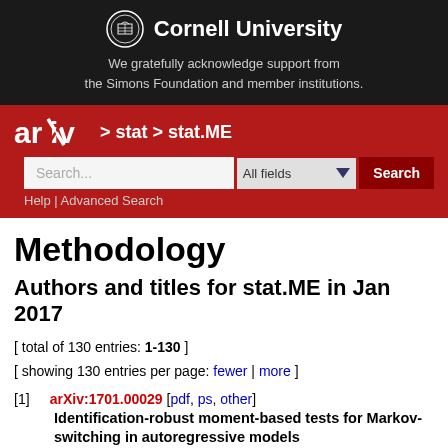[Figure (logo): Cornell University logo with seal and name on dark background, with text: We gratefully acknowledge support from the Simons Foundation and member institutions.]
[Figure (logo): arXiv logo on red background with breadcrumb navigation > stat > stat.ME and search bar with All fields dropdown and Search button. Help | Advanced Search links below.]
Methodology
Authors and titles for stat.ME in Jan 2017
[ total of 130 entries: 1-130 ]
[ showing 130 entries per page: fewer | more ]
[1]  arXiv:1701.00029 [pdf, ps, other]
Identification-robust moment-based tests for Markov-switching in autoregressive models
Jean-Marie Dufour, Richard Luger